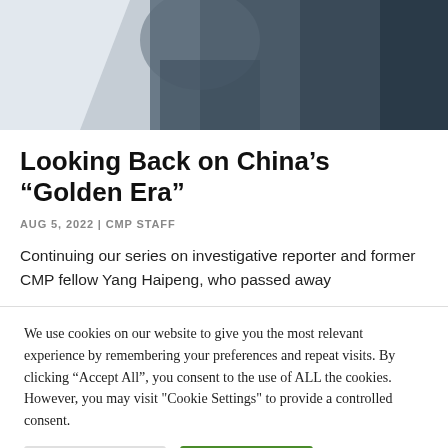[Figure (photo): Partial photo of a person in a dark jacket, cropped to show mainly the neck and lower face area against a light background]
Looking Back on China’s “Golden Era”
AUG 5, 2022 | CMP STAFF
Continuing our series on investigative reporter and former CMP fellow Yang Haipeng, who passed away
We use cookies on our website to give you the most relevant experience by remembering your preferences and repeat visits. By clicking “Accept All”, you consent to the use of ALL the cookies. However, you may visit "Cookie Settings" to provide a controlled consent.
Cookie Settings | Accept All